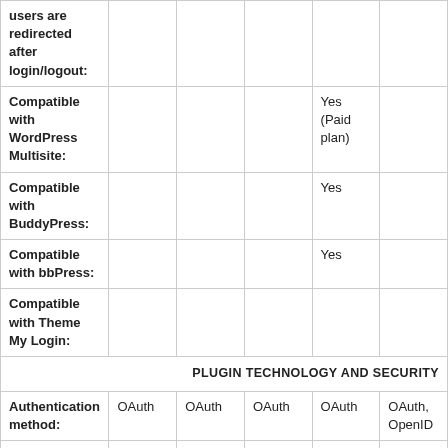| Feature | Col1 | Col2 | Col3 | Col4 | Col5 |
| --- | --- | --- | --- | --- | --- |
| users are redirected after login/logout: |  |  |  |  |  |
| Compatible with WordPress Multisite: |  |  |  | Yes (Paid plan) |  |
| Compatible with BuddyPress: |  |  |  | Yes |  |
| Compatible with bbPress: |  |  |  | Yes |  |
| Compatible with Theme My Login: |  |  |  |  |  |
| PLUGIN TECHNOLOGY AND SECURITY |  |  |  |  |  |
| Authentication method: | OAuth | OAuth | OAuth | OAuth | OAuth, OpenID |
| Users are authenticated through a proxy, middleman, single integration point | No | Yes, OneAll | Yes, MailChimp | Yes, LoginRadius | No |